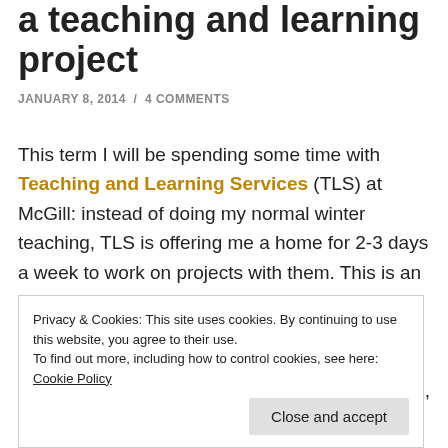a teaching and learning project
JANUARY 8, 2014 / 4 COMMENTS
This term I will be spending some time with Teaching and Learning Services (TLS) at McGill: instead of doing my normal winter teaching, TLS is offering me a home for 2-3 days a week to work on projects with them. This is an outstanding opportunity as it provides real and significant time to work on teaching innovation. In my opinion, teaching in higher education should constantly be evaluated and re-assessed, and all Professors (regardless of career stage) should be supported and
Privacy & Cookies: This site uses cookies. By continuing to use this website, you agree to their use.
To find out more, including how to control cookies, see here: Cookie Policy
Close and accept
Universities don't value teaching, but rather an